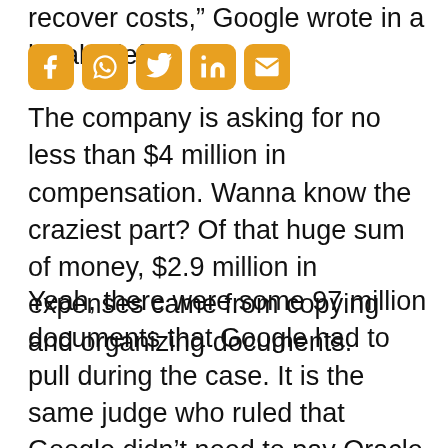recover costs,” Google wrote in a legal brief.
[Figure (other): Social media share icons: Facebook, WhatsApp, Twitter, LinkedIn, Email]
The company is asking for no less than $4 million in compensation. Wanna know the craziest part? Of that huge sum of money, $2.9 million in expenses came from copying and organizing documents.
Yeah, there were some 97 million documents that Google had to pull during the case. It is the same judge who ruled that Google didn’t need to pay Oracle anything on its patent allegations, Judge William Alsup, who will determine how much Oracle now needs to pay